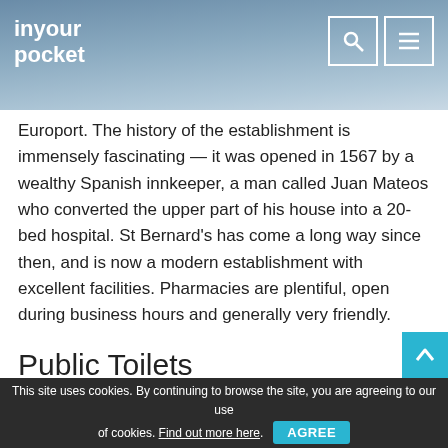inyour pocket
Europort. The history of the establishment is immensely fascinating — it was opened in 1567 by a wealthy Spanish innkeeper, a man called Juan Mateos who converted the upper part of his house into a 20-bed hospital. St Bernard's has come a long way since then, and is now a modern establishment with excellent facilities. Pharmacies are plentiful, open during business hours and generally very friendly.
Public Toilets
Gibraltar has plenty of public toilets, both in the centre of town and at the numerous beaches around. These are generally well maintained, although the whole 50p for 20
This site uses cookies. By continuing to browse the site, you are agreeing to our use of cookies. Find out more here. AGREE